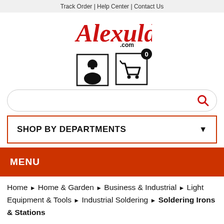Track Order | Help Center | Contact Us
[Figure (logo): Alexuld.com logo in red italic script font with .com in small black text]
[Figure (infographic): User account icon and shopping cart icon with badge showing 0]
[Figure (infographic): Search bar with red magnifying glass icon]
SHOP BY DEPARTMENTS
MENU
Home > Home & Garden > Business & Industrial > Light Equipment & Tools > Industrial Soldering > Soldering Irons & Stations